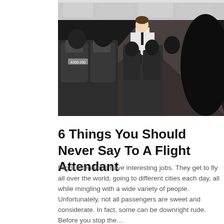[Figure (photo): Interior of an airplane cabin with passengers seated and a flight attendant standing in the aisle at the front of the cabin.]
6 Things You Should Never Say To A Flight Attendant
Flight attendants have interesting jobs. They get to fly all over the world, going to different cities each day, all while mingling with a wide variety of people. Unfortunately, not all passengers are sweet and considerate. In fact, some can be downright rude. Before you stop the…
[Figure (photo): View from inside an airport control tower with large windows showing an airplane on the tarmac and people standing inside the tower.]